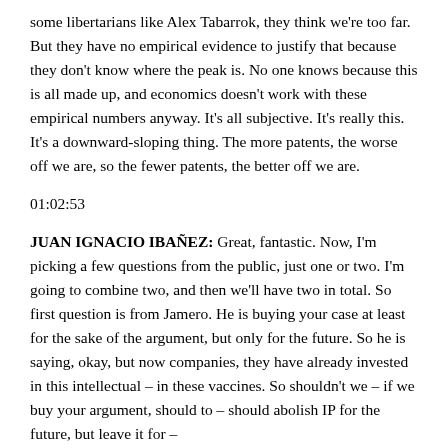some libertarians like Alex Tabarrok, they think we're too far. But they have no empirical evidence to justify that because they don't know where the peak is. No one knows because this is all made up, and economics doesn't work with these empirical numbers anyway. It's all subjective. It's really this. It's a downward-sloping thing. The more patents, the worse off we are, so the fewer patents, the better off we are.
01:02:53
JUAN IGNACIO IBAÑEZ: Great, fantastic. Now, I'm picking a few questions from the public, just one or two. I'm going to combine two, and then we'll have two in total. So first question is from Jamero. He is buying your case at least for the sake of the argument, but only for the future. So he is saying, okay, but now companies, they have already invested in this intellectual – in these vaccines. So shouldn't we – if we buy your argument, should to – should abolish IP for the future, but leave it for –